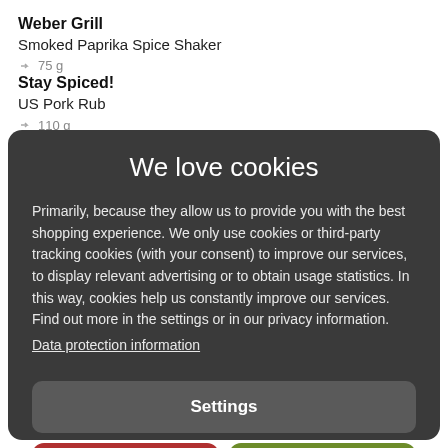Weber Grill
Smoked Paprika Spice Shaker
→ 75 g
Stay Spiced!
US Pork Rub
→ 110 g
We love cookies
Primarily, because they allow us to provide you with the best shopping experience. We only use cookies or third-party tracking cookies (with your consent) to improve our services, to display relevant advertising or to obtain usage statistics. In this way, cookies help us constantly improve our services. Find out more in the settings or in our privacy information.
Data protection information
Settings
Reject all
Accept all